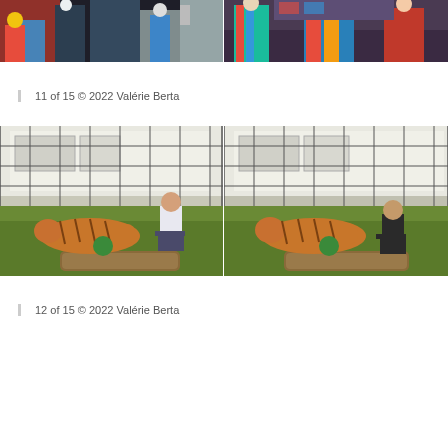[Figure (photo): Two side-by-side cropped photos at top: left shows people/children indoors with colorful decor; right shows colorful clown costumes and children indoors]
11 of 15 © 2022 Valérie Berta
[Figure (photo): Two side-by-side photos: both show a man sitting inside a wire enclosure/cage with a tiger lying on grass, a green ball, and a log, with a caravan in background. Left photo man wears casual clothes; right photo man wears dark jacket.]
12 of 15 © 2022 Valérie Berta